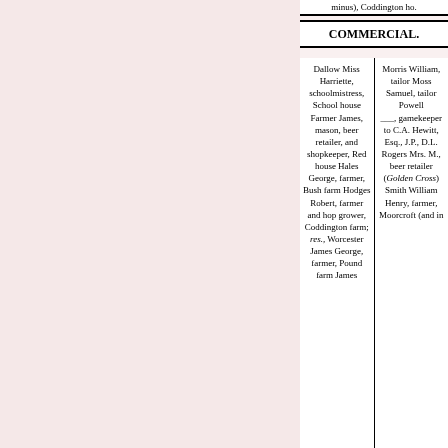minus), Coddington ho.
COMMERCIAL.
Dallow Miss Harriette, schoolmistress, School house Farmer James, mason, beer retailer, and shopkeeper, Red house Hales George, farmer, Bush farm Hodges Robert, farmer and hop grower, Coddington farm; res., Worcester James George, farmer, Pound farm James
Morris William, tailor Moss Samuel, tailor Powell ___, gamekeeper to C.A. Hewitt, Esq., J.P., D.L. Rogers Mrs. M., beer retailer (Golden Cross) Smith William Henry, farmer, Moorcroft (and in